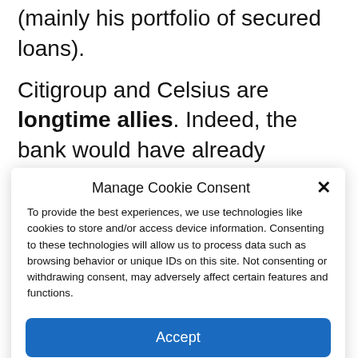(mainly his portfolio of secured loans).
Citigroup and Celsius are longtime allies. Indeed, the bank would have already advised Celsius on various activities and on its initial public offering (IPO) projects. The approach was then to make public the activity of its bitcoin mining subsidiary. Indeed, the
Manage Cookie Consent
To provide the best experiences, we use technologies like cookies to store and/or access device information. Consenting to these technologies will allow us to process data such as browsing behavior or unique IDs on this site. Not consenting or withdrawing consent, may adversely affect certain features and functions.
Accept
Cookie Policy